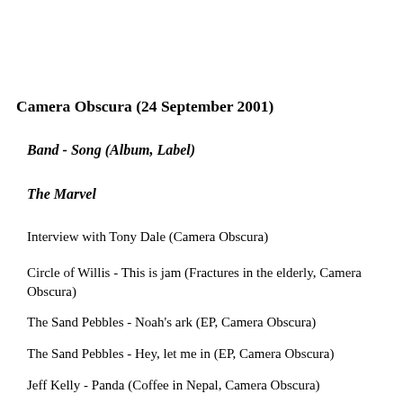Camera Obscura (24 September 2001)
Band - Song (Album, Label)
The Marvel
Interview with Tony Dale (Camera Obscura)
Circle of Willis - This is jam (Fractures in the elderly, Camera Obscura)
The Sand Pebbles - Noah's ark (EP, Camera Obscura)
The Sand Pebbles - Hey, let me in (EP, Camera Obscura)
Jeff Kelly - Panda (Coffee in Nepal, Camera Obscura)
Jeff Kelly - Don't ever go (Coffee in Nepal, Camera Obscura)